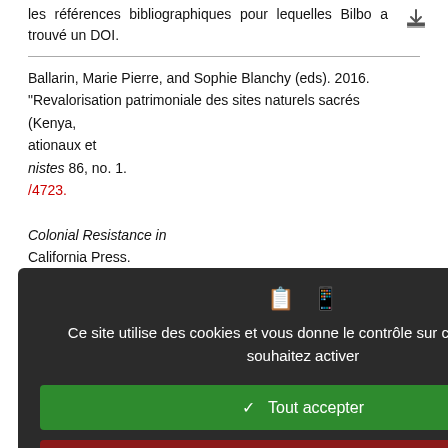les références bibliographiques pour lequelles Bilbo a trouvé un DOI.
Ballarin, Marie Pierre, and Sophie Blanchy (eds). 2016. "Revalorisation patrimoniale des sites naturels sacrés (Kenya, …ationaux et …nistes 86, no. 1. …/4723. …Colonial Resistance in …California Press. …Contesting Identities. …an Coastal Society. …e, Identity and …" The Uganda Journal, …s and Cultural Heritage …rin, Herman Kiriama, …and Saibou Nignan. …a propos des sanctuaires …êts sacrées et …
[Figure (screenshot): Cookie consent overlay dialog with dark background. Contains icons, message in French about cookies, three buttons: Tout accepter (green), Tout refuser (red), Personnaliser (white), and a Politique de confidentialité link.]